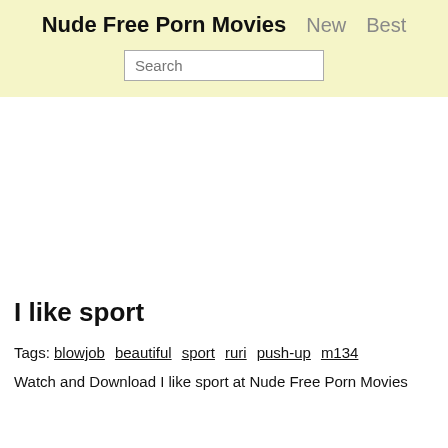Nude Free Porn Movies  New  Best
I like sport
Tags: blowjob  beautiful  sport  ruri  push-up  m134
Watch and Download I like sport at Nude Free Porn Movies